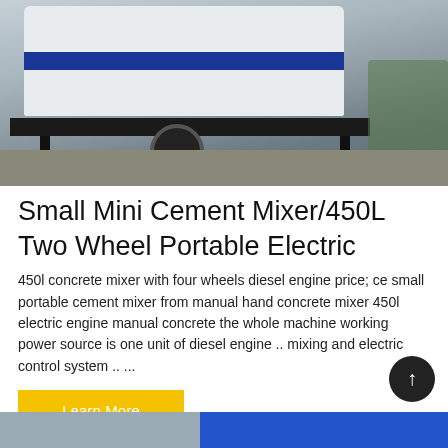[Figure (photo): Small mini cement mixer / 450L two wheel portable electric machine on a trailer with white and blue body, black frame, parked on gravel outdoors.]
Small Mini Cement Mixer/450L Two Wheel Portable Electric
450l concrete mixer with four wheels diesel engine price; ce small portable cement mixer from manual hand concrete mixer 450l electric engine manual concrete the whole machine working power source is one unit of diesel engine .. mixing and electric control system .. ...
Learn More